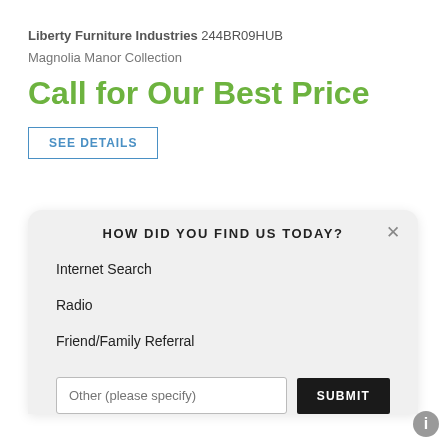Liberty Furniture Industries 244BR09HUB
Magnolia Manor Collection
Call for Our Best Price
SEE DETAILS
HOW DID YOU FIND US TODAY?
Internet Search
Radio
Friend/Family Referral
Other (please specify)
SUBMIT